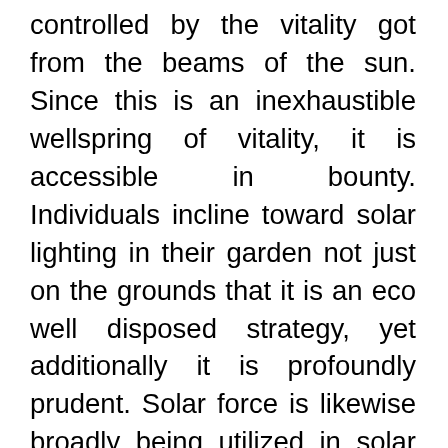controlled by the vitality got from the beams of the sun. Since this is an inexhaustible wellspring of vitality, it is accessible in bounty. Individuals incline toward solar lighting in their garden not just on the grounds that it is an eco well disposed strategy, yet additionally it is profoundly prudent. Solar force is likewise broadly being utilized in solar cookers solar radiators solar vehicles and so forth.

Gardens are multi propose; they can be utilized to providing more at